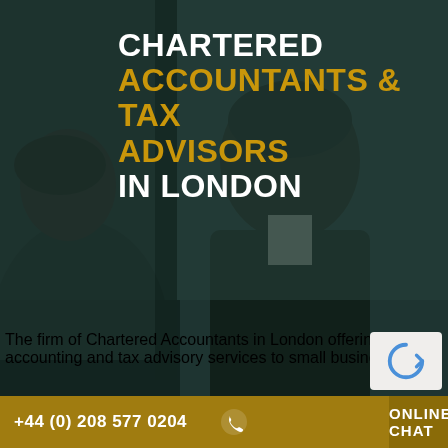[Figure (photo): Two businessmen facing each other in an office setting with glass walls, dark teal toned background photo]
CHARTERED ACCOUNTANTS & TAX ADVISORS IN LONDON
The firm of Chartered Accountants in London offering all accounting and tax advisory services to small businesses.
+44 (0) 208 577 0204   ONLINE CHAT